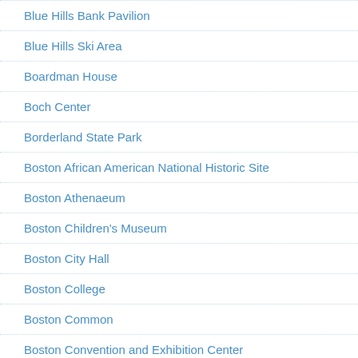Blue Hills Bank Pavilion
Blue Hills Ski Area
Boardman House
Boch Center
Borderland State Park
Boston African American National Historic Site
Boston Athenaeum
Boston Children's Museum
Boston City Hall
Boston College
Boston Common
Boston Convention and Exhibition Center